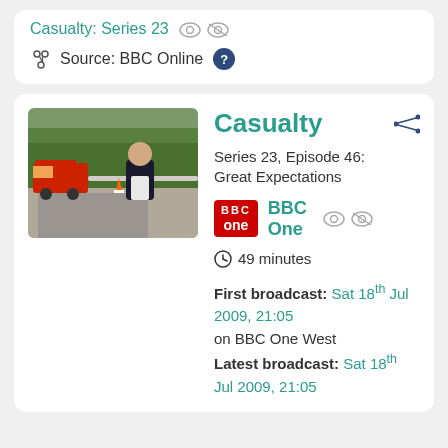Casualty: Series 23
Source: BBC Online
Casualty
Series 23, Episode 46: Great Expectations
BBC One
49 minutes
First broadcast: Sat 18th Jul 2009, 21:05 on BBC One West
Latest broadcast: Sat 18th Jul 2009, 21:05